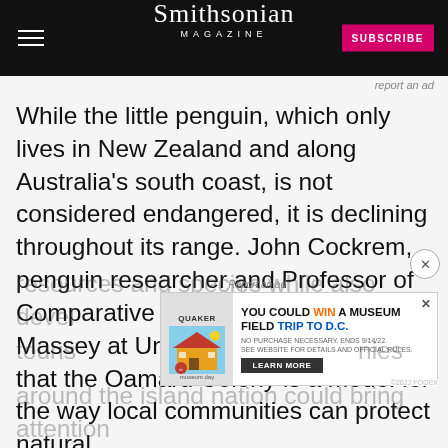Smithsonian MAGAZINE
report an ad
While the little penguin, which only lives in New Zealand and along Australia’s south coast, is not considered endangered, it is declining throughout its range. John Cockrem, penguin researcher and Professor of Comparative Endocrinology at Massey at University, tells Cullinane that the Oamaru Colony is a model for the way local communities can protect natural
resources and species while also devel... tourism... ...nies around the island nation could bring attention